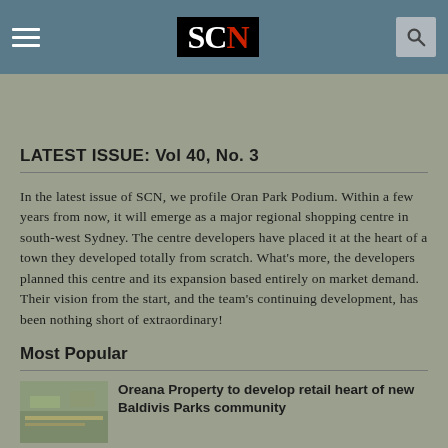SCN - Shopping Centre News
[Figure (screenshot): SCN website banner showing 'From neighbourhood centres to the rise of mixed-use developments']
LATEST ISSUE: Vol 40, No. 3
In the latest issue of SCN, we profile Oran Park Podium. Within a few years from now, it will emerge as a major regional shopping centre in south-west Sydney. The centre developers have placed it at the heart of a town they developed totally from scratch. What's more, the developers planned this centre and its expansion based entirely on market demand. Their vision from the start, and the team's continuing development, has been nothing short of extraordinary!
Most Popular
Oreana Property to develop retail heart of new Baldivis Parks community